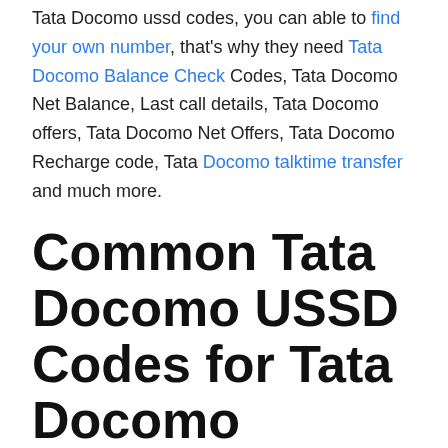Tata Docomo ussd codes, you can able to find your own number, that's why they need Tata Docomo Balance Check Codes, Tata Docomo Net Balance, Last call details, Tata Docomo offers, Tata Docomo Net Offers, Tata Docomo Recharge code, Tata Docomo talktime transfer and much more.
Common Tata Docomo USSD Codes for Tata Docomo Balance Check